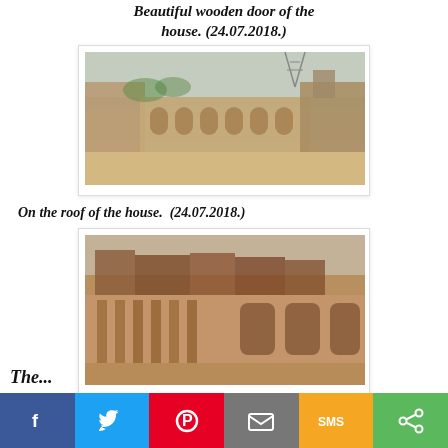Beautiful wooden door of the house. (24.07.2018.)
[Figure (photo): Rooftop view of an old historic house with arched walls and sandy courtyard, power towers visible in background]
On the roof of the house.  (24.07.2018.)
[Figure (photo): Exterior view of old ruined house facade with decorative columns and arched openings, reddish brick buildings in background]
The...
f  [Twitter]  [Pinterest]  [Email]  SMS  [Share]